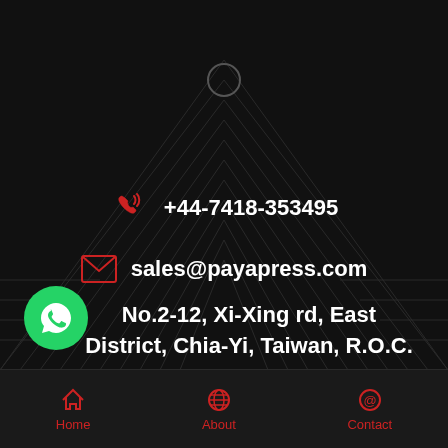[Figure (screenshot): Dark background with decorative geometric triangle/arrow line pattern and circle at top]
+44-7418-353495
sales@payapress.com
No.2-12, Xi-Xing rd, East District, Chia-Yi, Taiwan, R.O.C. 606
Home   About   Contact